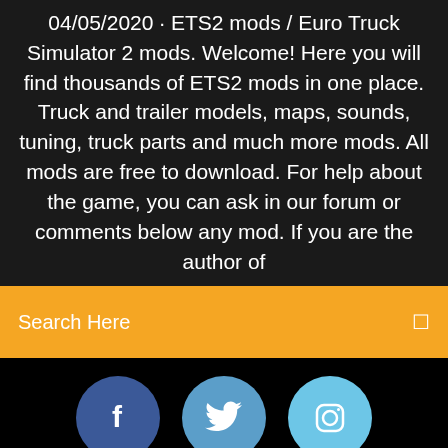04/05/2020 · ETS2 mods / Euro Truck Simulator 2 mods. Welcome! Here you will find thousands of ETS2 mods in one place. Truck and trailer models, maps, sounds, tuning, truck parts and much more mods. All mods are free to download. For help about the game, you can ask in our forum or comments below any mod. If you are the author of
Search Here
[Figure (infographic): Three social media icons: Facebook (dark blue circle with f), Twitter (medium blue circle with bird), Instagram (light blue circle with camera outline)]
Plants Vs Zombie Ps4
Telecharger Application Play Store Sur Pc
Apowersoft Video Télécharger Capture Avis
Star Trek Fleet Command Auf Pc